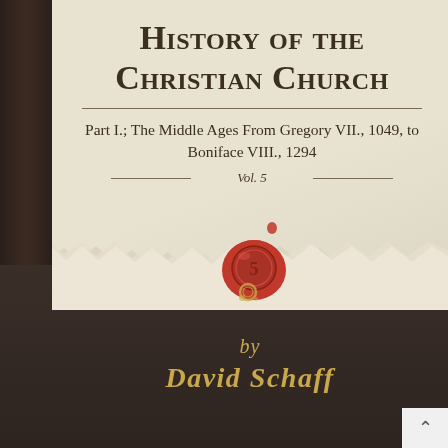[Figure (illustration): Book cover of 'History of the Christian Church' by David Schaff, Vol. 5. The cover shows a cream/parchment upper section with the title, subtitle, and volume number, a torn paper effect in the middle revealing a dark brown lower section, a red wax seal in the center, and gold italic author name at the bottom. A dark green/brown spine is visible on the left edge.]